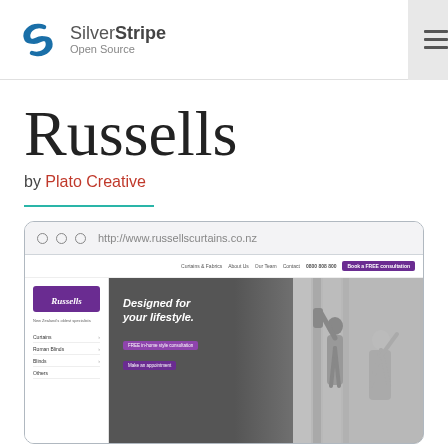SilverStripe Open Source
Russells
by Plato Creative
[Figure (screenshot): Browser mockup showing the Russells Curtains website at http://www.russellscurtains.co.nz with purple logo, navigation sidebar showing Curtains, Roman Blinds, Blinds, Others, and a hero banner reading 'Designed for your lifestyle.' with two buttons and a photo of two women looking at curtains.]